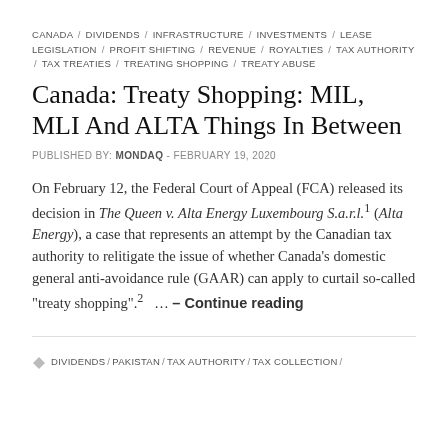CANADA / DIVIDENDS / INFRASTRUCTURE / INVESTMENTS / LEASE LEGISLATION / PROFIT SHIFTING / REVENUE / ROYALTIES / TAX AUTHORITY / TAX TREATIES / TREATING SHOPPING / TREATY ABUSE
Canada: Treaty Shopping: MIL, MLI And ALTA Things In Between
PUBLISHED BY: MONDAQ - FEBRUARY 19, 2020
On February 12, the Federal Court of Appeal (FCA) released its decision in The Queen v. Alta Energy Luxembourg S.a.r.l.1 (Alta Energy), a case that represents an attempt by the Canadian tax authority to relitigate the issue of whether Canada’s domestic general anti-avoidance rule (GAAR) can apply to curtail so-called “treaty shopping”.2  … – Continue reading
DIVIDENDS / PAKISTAN / TAX AUTHORITY / TAX COLLECTION /